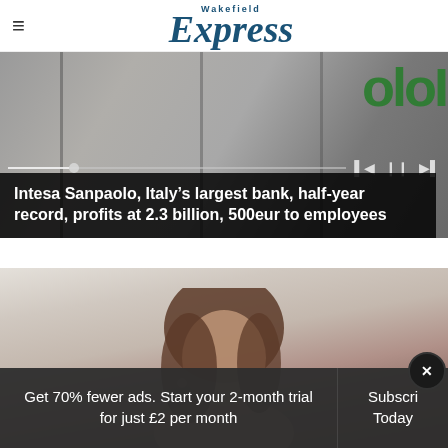Wakefield Express
[Figure (photo): Exterior signage photo showing green letters on a building facade (Intesa Sanpaolo sign), with media player controls overlay]
Intesa Sanpaolo, Italy’s largest bank, half-year record, profits at 2.3 billion, 500eur to employees
[Figure (photo): Photo of a person with brown hair lying down, partially obscured]
Get 70% fewer ads. Start your 2-month trial for just £2 per month
Subscri Today